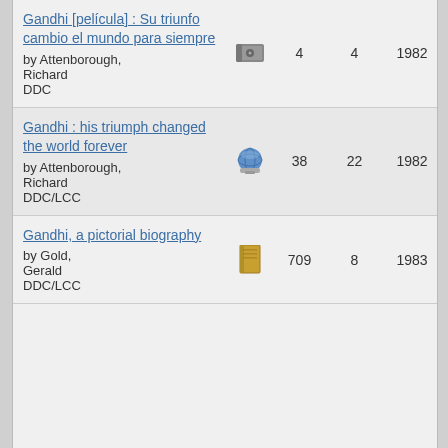| Title/Author/Classification | Icon | Holdings | Libraries | Year1 | Year2 |
| --- | --- | --- | --- | --- | --- |
| Gandhi [película] : Su triunfo cambio el mundo para siempre
by Attenborough, Richard
DDC | DVD icon | 4 | 4 | 1982 | 2001 |
| Gandhi : his triumph changed the world forever
by Attenborough, Richard
DDC/LCC | globe icon | 38 | 22 | 1982 | 2007 |
| Gandhi, a pictorial biography
by Gold, Gerald
DDC/LCC | book icon | 709 | 8 | 1983 | 2010 |